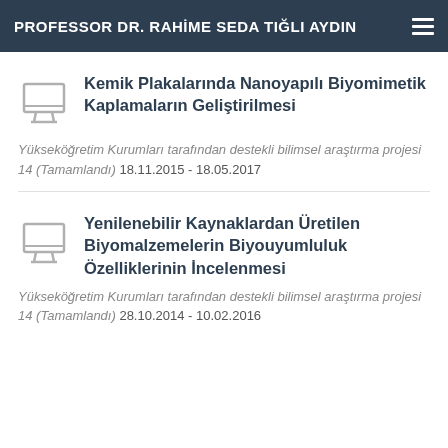PROFESSOR DR. RAHİME SEDA TIĞLI AYDIN
Kemik Plakalarında Nanoyapılı Biyomimetik Kaplamaların Geliştirilmesi
Yükseköğretim Kurumları tarafından destekli bilimsel araştırma projesi 14 (Tamamlandı) 18.11.2015 - 18.05.2017
Yenilenebilir Kaynaklardan Üretilen Biyomalzemelerin Biyouyumluluk Özelliklerinin İncelenmesi
Yükseköğretim Kurumları tarafından destekli bilimsel araştırma projesi 14 (Tamamlandı) 28.10.2014 - 10.02.2016